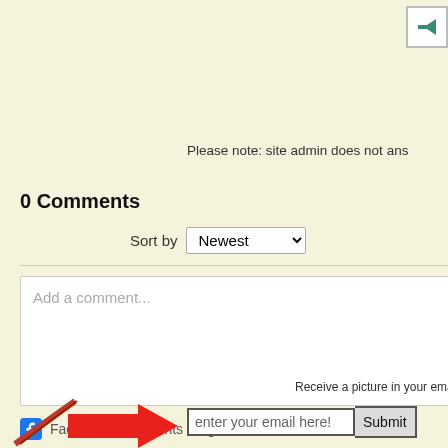[Figure (screenshot): Back navigation arrow button in teal/green color on white background with border]
Please note: site admin does not ans
0 Comments
Sort by  Newest
Add a comment...
Facebook Comments Plugin
Cottages    Medical Doctors    Passion    Concrete Foundatio
Receive a picture in your email weekly!
enter your email here!   Submit